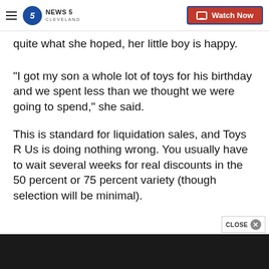News 5 Cleveland — Watch Now
quite what she hoped, her little boy is happy.
"I got my son a whole lot of toys for his birthday and we spent less than we thought we were going to spend," she said.
This is standard for liquidation sales, and Toys R Us is doing nothing wrong. You usually have to wait several weeks for real discounts in the 50 percent or 75 percent variety (though selection will be minimal).